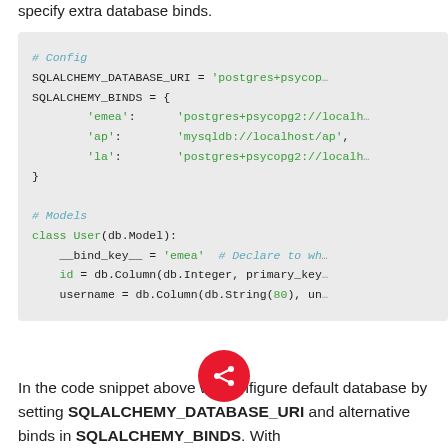specify extra database binds.
[Figure (screenshot): Code block showing SQLAlchemy configuration with SQLALCHEMY_DATABASE_URI and SQLALCHEMY_BINDS settings, followed by a User model class definition with __bind_key__, id, and username fields.]
In the code snippet above we configure default database by setting SQLALCHEMY_DATABASE_URI and alternative binds in SQLALCHEMY_BINDS. With